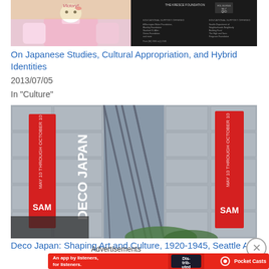[Figure (photo): Two photos side by side: left shows a person wearing a pink Hello Kitty shirt; right shows a dark background with text about an exhibition/foundation.]
On Japanese Studies, Cultural Appropriation, and Hybrid Identities
2013/07/05
In "Culture"
[Figure (photo): Exterior of Seattle Asian Art Museum building with large red vertical banners reading 'DECO JAPAN' and 'SAM' logo.]
Deco Japan: Shaping Art and Culture, 1920-1945, Seattle Asian Art
Advertisements
[Figure (photo): Advertisement banner for Pocket Casts app. Red background with text 'An app by listeners, for listeners.' and Pocket Casts logo with a phone showing the 'Distributed' podcast.]